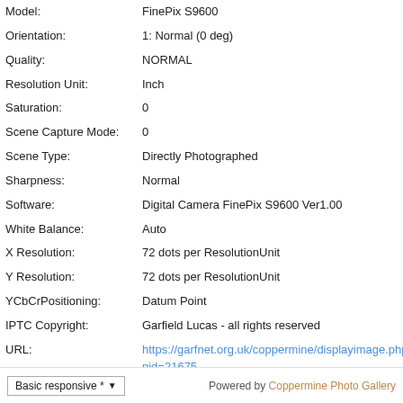| Model: | FinePix S9600 |
| Orientation: | 1: Normal (0 deg) |
| Quality: | NORMAL |
| Resolution Unit: | Inch |
| Saturation: | 0 |
| Scene Capture Mode: | 0 |
| Scene Type: | Directly Photographed |
| Sharpness: | Normal |
| Software: | Digital Camera FinePix S9600 Ver1.00 |
| White Balance: | Auto |
| X Resolution: | 72 dots per ResolutionUnit |
| Y Resolution: | 72 dots per ResolutionUnit |
| YCbCrPositioning: | Datum Point |
| IPTC Copyright: | Garfield Lucas - all rights reserved |
| URL: | https://garfnet.org.uk/coppermine/displayimage.php?pid=21675 |
| Favorites: | Add to Favorites |
Basic responsive * ▼   Powered by Coppermine Photo Gallery